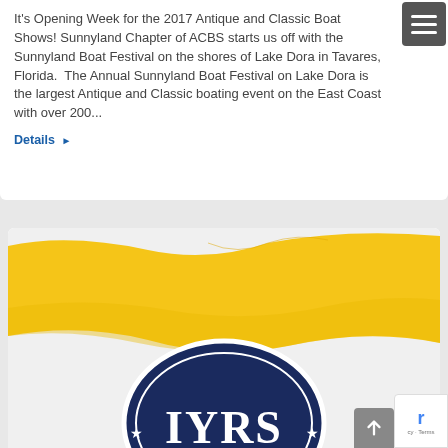It's Opening Week for the 2017 Antique and Classic Boat Shows! Sunnyland Chapter of ACBS starts us off with the Sunnyland Boat Festival on the shores of Lake Dora in Tavares, Florida. The Annual Sunnyland Boat Festival on Lake Dora is the largest Antique and Classic boating event on the East Coast with over 200...
Details ▶
[Figure (illustration): Yellow flag waving graphic above a dark navy blue circular logo with white letters 'IYRS' and stars]